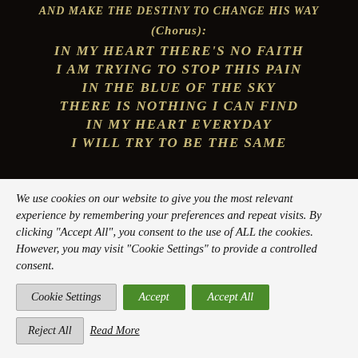AND MAKE THE DESTINY TO CHANGE HIS WAY
(CHORUS):
IN MY HEART THERE'S NO FAITH
I AM TRYING TO STOP THIS PAIN
IN THE BLUE OF THE SKY
THERE IS NOTHING I CAN FIND
IN MY HEART EVERYDAY
I WILL TRY TO BE THE SAME
We use cookies on our website to give you the most relevant experience by remembering your preferences and repeat visits. By clicking "Accept All", you consent to the use of ALL the cookies. However, you may visit "Cookie Settings" to provide a controlled consent.
Cookie Settings | Accept | Accept All
Reject All | Read More